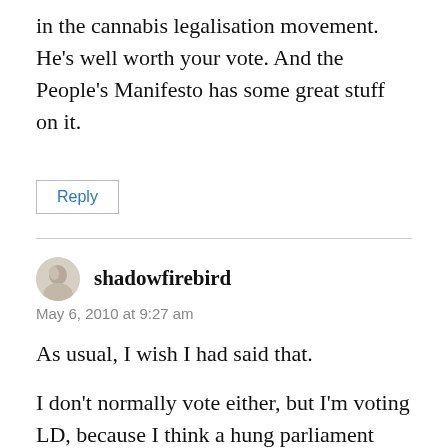in the cannabis legalisation movement. He's well worth your vote. And the People's Manifesto has some great stuff on it.
Reply
shadowfirebird
May 6, 2010 at 9:27 am
As usual, I wish I had said that.
I don't normally vote either, but I'm voting LD, because I think a hung parliament would be a good thing.